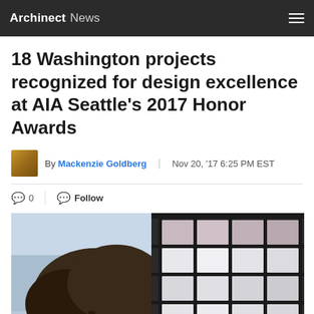Archinect News
18 Washington projects recognized for design excellence at AIA Seattle's 2017 Honor Awards
By Mackenzie Goldberg | Nov 20, '17 6:25 PM EST
0  Follow
[Figure (photo): Exterior architectural photo of a building with a grid-pattern glass facade and dark frames, with trees visible in the foreground against a blue sky]